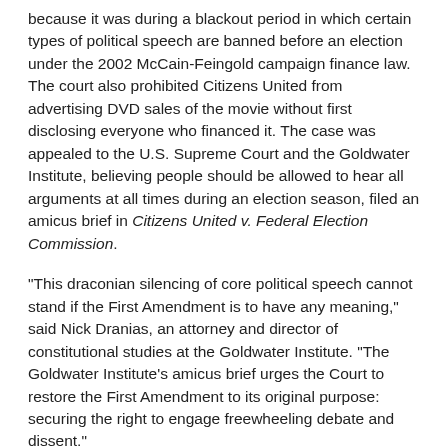because it was during a blackout period in which certain types of political speech are banned before an election under the 2002 McCain-Feingold campaign finance law. The court also prohibited Citizens United from advertising DVD sales of the movie without first disclosing everyone who financed it. The case was appealed to the U.S. Supreme Court and the Goldwater Institute, believing people should be allowed to hear all arguments at all times during an election season, filed an amicus brief in Citizens United v. Federal Election Commission.
"This draconian silencing of core political speech cannot stand if the First Amendment is to have any meaning," said Nick Dranias, an attorney and director of constitutional studies at the Goldwater Institute. "The Goldwater Institute's amicus brief urges the Court to restore the First Amendment to its original purpose: securing the right to engage freewheeling debate and dissent."
The Supreme Court heard arguments earlier this year in Citizens United v. FEC and in an unusual move scheduled further arguments during its 2009-2010 session. The Court